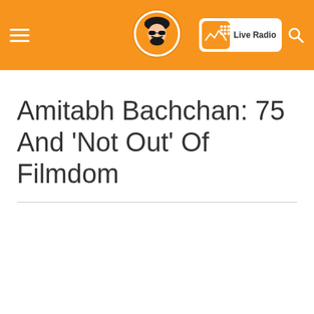Calling Punjab – Live Radio
Amitabh Bachchan: 75 And 'Not Out' Of Filmdom